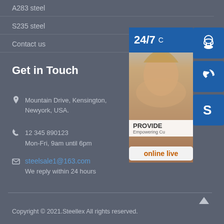A283 steel
S235 steel
Contact us
Get in Touch
Mountain Drive, Kensington, Newyork, USA.
12 345 890123
Mon-Fri, 9am until 6pm
steelsale1@163.com
We reply within 24 hours
[Figure (photo): Customer service widget with a woman wearing a headset, 24/7 label, blue icon tiles for support/phone/Skype, 'PROVIDE Empowering Cu...' text, and an 'online live' button]
Copyright © 2021.Steellex All rights reserved.